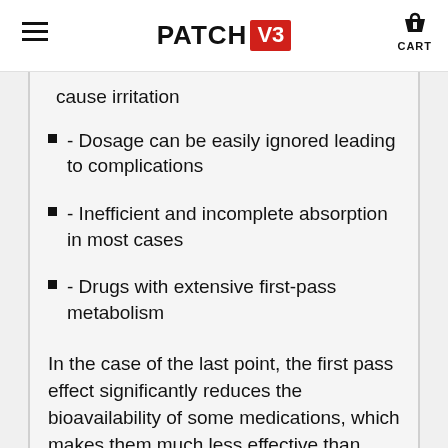PATCH V3 / CART
cause irritation
- Dosage can be easily ignored leading to complications
- Inefficient and incomplete absorption in most cases
- Drugs with extensive first-pass metabolism
In the case of the last point, the first pass effect significantly reduces the bioavailability of some medications, which makes them much less effective than